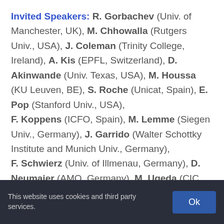Invited Speakers: R. Gorbachev (Univ. of Manchester, UK), M. Chhowalla (Rutgers Univ., USA), J. Coleman (Trinity College, Ireland), A. Kis (EPFL, Switzerland), D. Akinwande (Univ. Texas, USA), M. Houssa (KU Leuven, BE), S. Roche (Unicat, Spain), E. Pop (Stanford Univ., USA), F. Koppens (ICFO, Spain), M. Lemme (Siegen Univ., Germany), J. Garrido (Walter Schottky Institute and Munich Univ., Germany), F. Schwierz (Univ. of Illmenau, Germany), D. Neumaier (AMO, Germany), M. Ugeda (CIC
This website uses cookies and third party services.